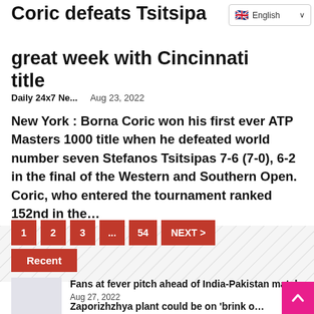Coric defeats Tsitsipas to cap great week with Cincinnati title
[Figure (screenshot): English language selector dropdown with UK flag]
Daily 24x7 Ne...    Aug 23, 2022
New York : Borna Coric won his first ever ATP Masters 1000 title when he defeated world number seven Stefanos Tsitsipas 7-6 (7-0), 6-2 in the final of the Western and Southern Open. Coric, who entered the tournament ranked 152nd in the…
1
2
3
...
54
NEXT >
Recent
Fans at fever pitch ahead of India-Pakistan match...
Aug 27, 2022
Zaporizhzhya plant could be on 'brink o…
Aug 27, 2022